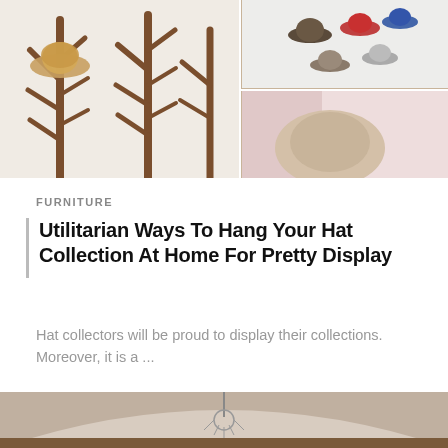[Figure (photo): Collage of hat storage and display solutions: wooden tree-branch wall hooks with straw hats on left, shelves with multiple hats on brick wall top right, pink room with hat on round surface bottom right.]
FURNITURE
Utilitarian Ways To Hang Your Hat Collection At Home For Pretty Display
Hat collectors will be proud to display their collections. Moreover, it is a ...
[Figure (photo): Bottom portion of a room interior with a chandelier visible on a vaulted ceiling, warm beige tones, partial view of wooden furniture.]